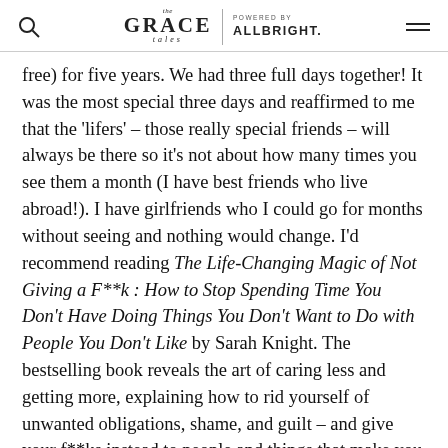The Grace Tales | POWERED BY ALLBRIGHT.
free) for five years. We had three full days together! It was the most special three days and reaffirmed to me that the 'lifers' – those really special friends – will always be there so it's not about how many times you see them a month (I have best friends who live abroad!). I have girlfriends who I could go for months without seeing and nothing would change. I'd recommend reading The Life-Changing Magic of Not Giving a F**k : How to Stop Spending Time You Don't Have Doing Things You Don't Want to Do with People You Don't Like by Sarah Knight. The bestselling book reveals the art of caring less and getting more, explaining how to rid yourself of unwanted obligations, shame, and guilt – and give your f**ks instead to people and things that make you happy.